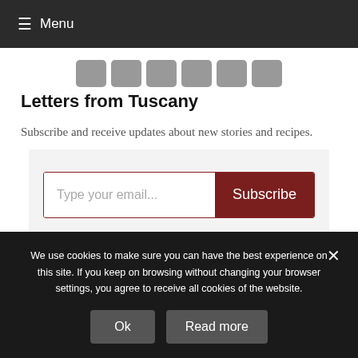≡ Menu
[Figure (other): Row of six social media sharing buttons in gray]
Letters from Tuscany
Subscribe and receive updates about new stories and recipes.
[Figure (other): Substack email subscription widget with email input field placeholder 'Type your email...' and a dark red Subscribe button, with Substack logo at bottom right]
We use cookies to make sure you can have the best experience on this site. If you keep on browsing without changing your browser settings, you agree to receive all cookies of the website.
Ok    Read more